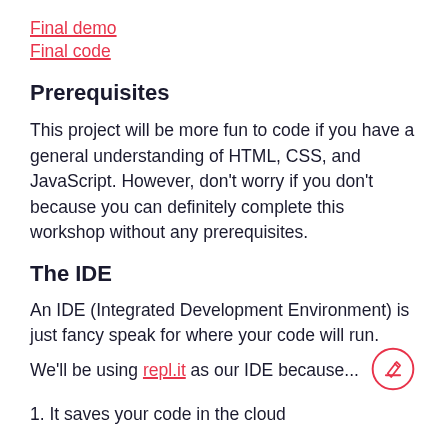Final demo
Final code
Prerequisites
This project will be more fun to code if you have a general understanding of HTML, CSS, and JavaScript. However, don't worry if you don't because you can definitely complete this workshop without any prerequisites.
The IDE
An IDE (Integrated Development Environment) is just fancy speak for where your code will run. We'll be using repl.it as our IDE because...
1. It saves your code in the cloud